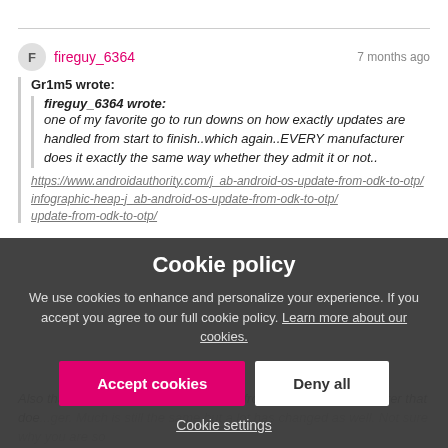fireguy_6364 · 7 months ago
Gr1m5 wrote: fireguy_6364 wrote: one of my favorite go to run downs on how exactly updates are handled from start to finish..which again..EVERY manufacturer does it exactly the same way whether they admit it or not..
[link partially visible]
Cookie policy - We use cookies to enhance and personalize your experience. If you accept you agree to our full cookie policy. Learn more about our cookies.
Accept cookies | Deny all
Cookie settings
Also that info graphic is from 2015 and from a device manufacturer that doe...ger. Much is still the same but a lot has changed as well. Not sure why you are so...